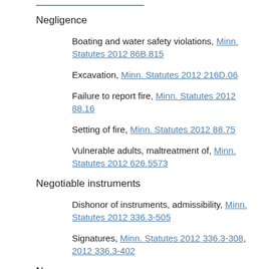Negligence
Boating and water safety violations, Minn. Statutes 2012 86B.815
Excavation, Minn. Statutes 2012 216D.06
Failure to report fire, Minn. Statutes 2012 88.16
Setting of fire, Minn. Statutes 2012 88.75
Vulnerable adults, maltreatment of, Minn. Statutes 2012 626.5573
Negotiable instruments
Dishonor of instruments, admissibility, Minn. Statutes 2012 336.3-505
Signatures, Minn. Statutes 2012 336.3-308, 2012 336.3-402
Newspapers